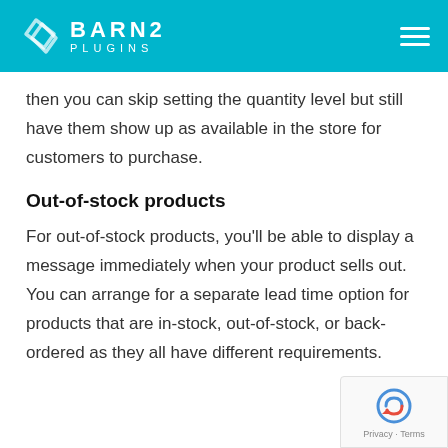BARN2 PLUGINS
then you can skip setting the quantity level but still have them show up as available in the store for customers to purchase.
Out-of-stock products
For out-of-stock products, you'll be able to display a message immediately when your product sells out. You can arrange for a separate lead time option for products that are in-stock, out-of-stock, or back-ordered as they all have different requirements.
[Figure (logo): reCAPTCHA badge with Privacy and Terms links]